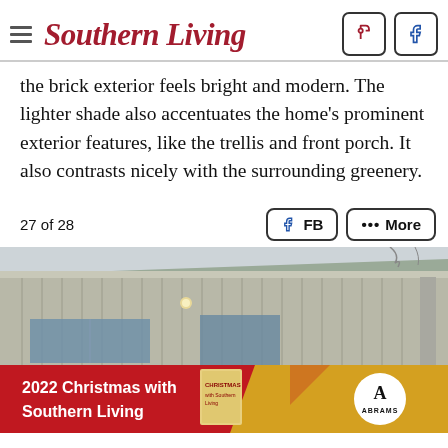Southern Living
the brick exterior feels bright and modern. The lighter shade also accentuates the home's prominent exterior features, like the trellis and front porch. It also contrasts nicely with the surrounding greenery.
27 of 28
[Figure (photo): Exterior of a modern house with vertical wood siding, a metal roof, and large windows. Overcast sky in background.]
[Figure (other): Advertisement banner: 2022 Christmas with Southern Living, featuring a book cover and Abrams publisher logo on a red and gold background.]